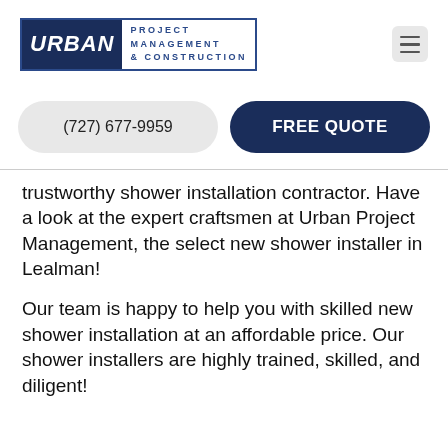[Figure (logo): Urban Project Management & Construction logo with dark navy block containing 'URBAN' in italic white text, and 'PROJECT MANAGEMENT & CONSTRUCTION' in blue spaced letters on white, enclosed in a blue border rectangle]
[Figure (other): Hamburger menu icon consisting of three horizontal lines on a light gray rounded square background]
(727) 677-9959
FREE QUOTE
trustworthy shower installation contractor. Have a look at the expert craftsmen at Urban Project Management, the select new shower installer in Lealman!
Our team is happy to help you with skilled new shower installation at an affordable price. Our shower installers are highly trained, skilled, and diligent!